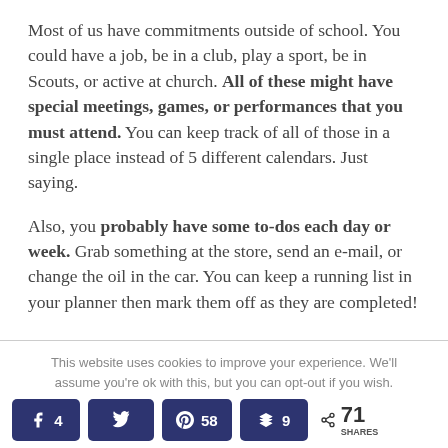Most of us have commitments outside of school. You could have a job, be in a club, play a sport, be in Scouts, or active at church. All of these might have special meetings, games, or performances that you must attend. You can keep track of all of those in a single place instead of 5 different calendars. Just saying.
Also, you probably have some to-dos each day or week. Grab something at the store, send an e-mail, or change the oil in the car. You can keep a running list in your planner then mark them off as they are completed!
This website uses cookies to improve your experience. We'll assume you're ok with this, but you can opt-out if you wish.